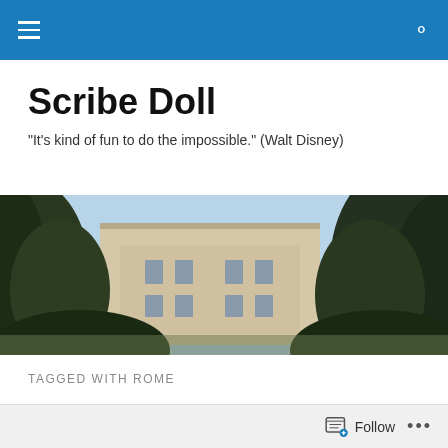Scribe Doll — navigation bar with menu and search icons
Scribe Doll
"It's kind of fun to do the impossible." (Walt Disney)
[Figure (photo): Outdoor photograph showing a large classical building with trees in the foreground against a light blue sky]
TAGGED WITH ROME
My Citrine Quartz Ring
Follow  •••